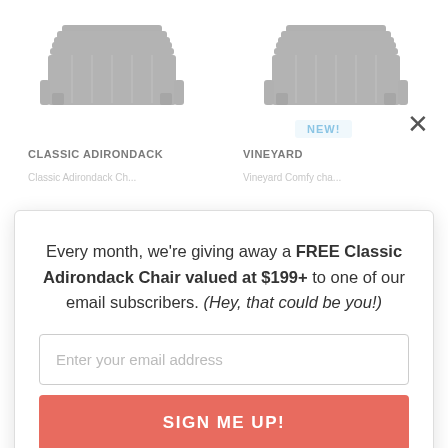[Figure (photo): Two gray Adirondack chairs shown from above/front, cut off at top of page]
NEW!
CLASSIC ADIRONDACK
VINEYARD
Every month, we're giving away a FREE Classic Adirondack Chair valued at $199+ to one of our email subscribers. (Hey, that could be you!)
Enter your email address
SIGN ME UP!
One (1) winner will be selected at random at the end of every month and contacted by email. U.S. entrants only.